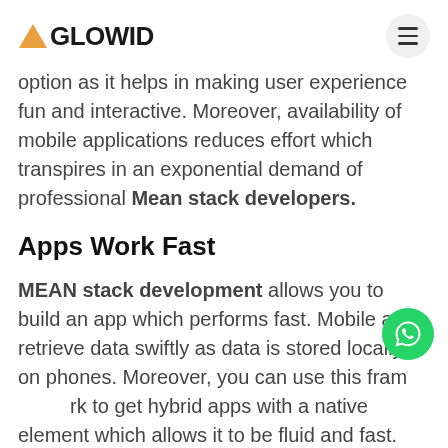AGLOWID
option as it helps in making user experience fun and interactive. Moreover, availability of mobile applications reduces effort which transpires in an exponential demand of professional Mean stack developers.
Apps Work Fast
MEAN stack development allows you to build an app which performs fast. Mobile apps retrieve data swiftly as data is stored locally on phones. Moreover, you can use this framework to get hybrid apps with a native element which allows it to be fluid and fast.